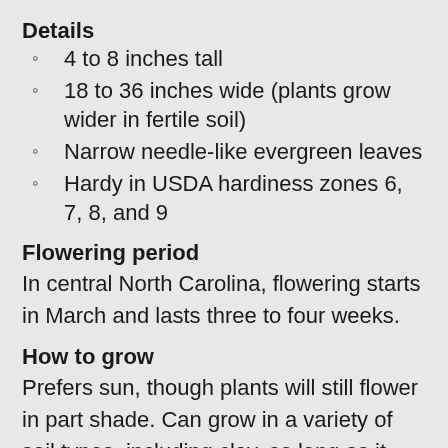Details
4 to 8 inches tall
18 to 36 inches wide (plants grow wider in fertile soil)
Narrow needle-like evergreen leaves
Hardy in USDA hardiness zones 6, 7, 8, and 9
Flowering period
In central North Carolina, flowering starts in March and lasts three to four weeks.
How to grow
Prefers sun, though plants will still flower in part shade. Can grow in a variety of soil types, including clay, as long as it drains reasonably well. Plants are drought tolerant!